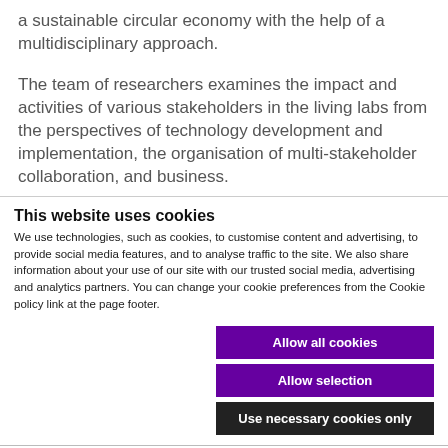a sustainable circular economy with the help of a multidisciplinary approach.
The team of researchers examines the impact and activities of various stakeholders in the living labs from the perspectives of technology development and implementation, the organisation of multi-stakeholder collaboration, and business.
This website uses cookies
We use technologies, such as cookies, to customise content and advertising, to provide social media features, and to analyse traffic to the site. We also share information about your use of our site with our trusted social media, advertising and analytics partners. You can change your cookie preferences from the Cookie policy link at the page footer.
Allow all cookies
Allow selection
Use necessary cookies only
Necessary  Preferences  Statistics  Marketing  Show details